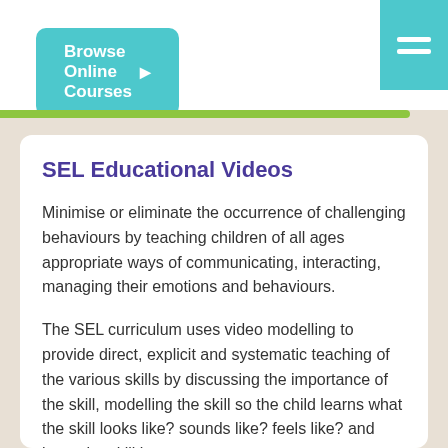[Figure (other): Teal/cyan rounded button labeled 'Browse Online Courses' with right arrow, on white background header area]
[Figure (other): Teal/cyan menu hamburger icon block in top right corner]
SEL Educational Videos
Minimise or eliminate the occurrence of challenging behaviours by teaching children of all ages appropriate ways of communicating, interacting, managing their emotions and behaviours.
The SEL curriculum uses video modelling to provide direct, explicit and systematic teaching of the various skills by discussing the importance of the skill, modelling the skill so the child learns what the skill looks like? sounds like? feels like? and learn the skill in